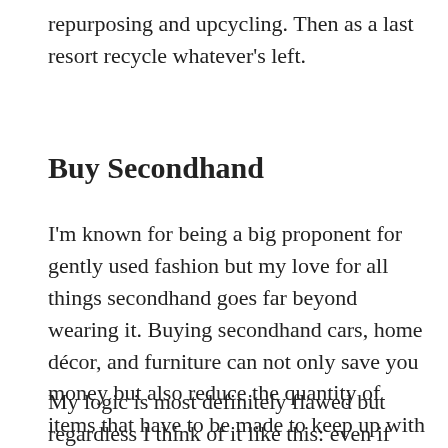repurposing and upcycling. Then as a last resort recycle whatever's left.
Buy Secondhand
I'm known for being a big proponent for gently used fashion but my love for all things secondhand goes far beyond wearing it. Buying secondhand cars, home décor, and furniture can not only save you money but also reduce the quantity of items that have to be made to keep up with demand.
My logic is most definitely flawed but regardless I think of it like this: even if that Forever 21 top was made in a sweatshop, buying it secondhand